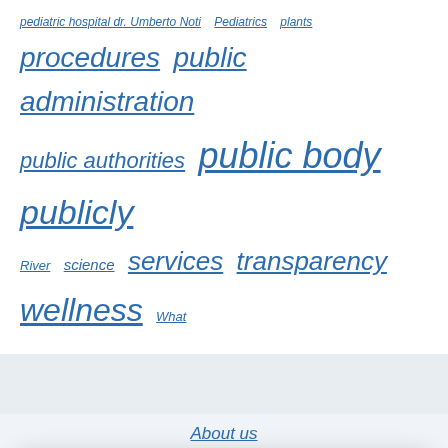pediatric hospital dr. Umberto Noti   Pediatrics   plants
procedures   public administration
public authorities   public body   publicly
River   science   services   transparency
wellness   What
About us
Manage Cookie Consent
To provide the best experiences, we use technologies like cookies to store and/or access device information.
Accept
Cookie Policy